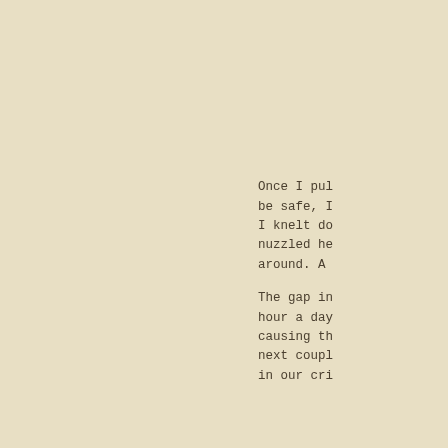Once I pul be safe, I I knelt do nuzzled he around. A The gap in hour a day causing th next coupl in our cri